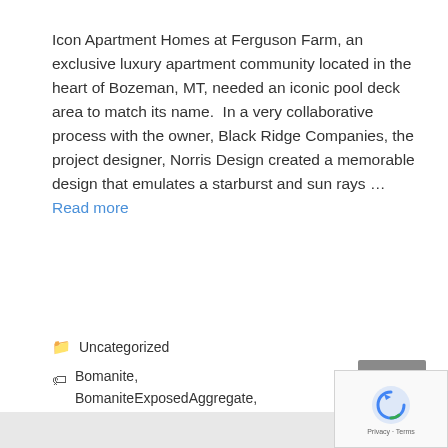Icon Apartment Homes at Ferguson Farm, an exclusive luxury apartment community located in the heart of Bozeman, MT, needed an iconic pool deck area to match its name.  In a very collaborative process with the owner, Black Ridge Companies, the project designer, Norris Design created a memorable design that emulates a starburst and sun rays … Read more
Uncategorized
Bomanite, BomaniteExposedAggregate, BomaniteSandscapeTexture, DecorativeConcrete, TexturedConcrete